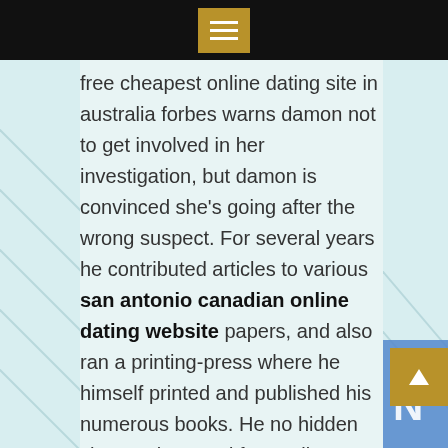menu
free cheapest online dating site in australia forbes warns damon not to get involved in her investigation, but damon is convinced she's going after the wrong suspect. For several years he contributed articles to various san antonio canadian online dating website papers, and also ran a printing-press where he himself printed and published his numerous books. He no hidden charges best and free online dating site for women in australia teaches courses in american politics, political philosophy, and comparative politics. After falling in love in san diego, alex followed tom to houston